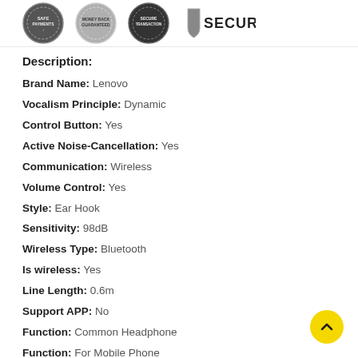[Figure (other): Four trust/security badge icons including 'Payments', 'Guaranteed', 'Transaction', and 'Secure' shield badge]
Description:
Brand Name: Lenovo
Vocalism Principle: Dynamic
Control Button: Yes
Active Noise-Cancellation: Yes
Communication: Wireless
Volume Control: Yes
Style: Ear Hook
Sensitivity: 98dB
Wireless Type: Bluetooth
Is wireless: Yes
Line Length: 0.6m
Support APP: No
Function: Common Headphone
Function: For Mobile Phone
Function: Sport